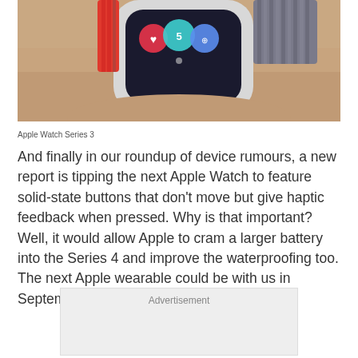[Figure (photo): Close-up photograph of an Apple Watch Series 3 on a person's wrist, showing the watch face with app icons and a red and gray woven sport loop band.]
Apple Watch Series 3
And finally in our roundup of device rumours, a new report is tipping the next Apple Watch to feature solid-state buttons that don't move but give haptic feedback when pressed. Why is that important? Well, it would allow Apple to cram a larger battery into the Series 4 and improve the waterproofing too. The next Apple wearable could be with us in September.
Advertisement